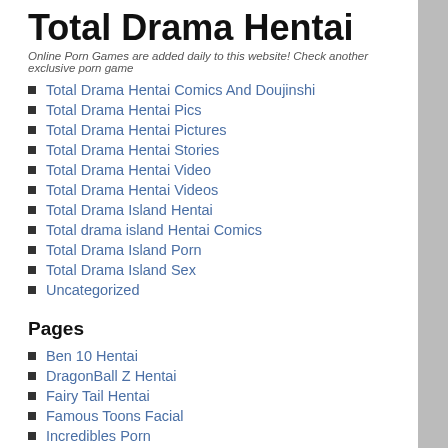Total Drama Hentai
Online Porn Games are added daily to this website! Check another exclusive porn game
Total Drama Hentai Comics And Doujinshi
Total Drama Hentai Pics
Total Drama Hentai Pictures
Total Drama Hentai Stories
Total Drama Hentai Video
Total Drama Hentai Videos
Total Drama Island Hentai
Total drama island Hentai Comics
Total Drama Island Porn
Total Drama Island Sex
Uncategorized
Pages
Ben 10 Hentai
DragonBall Z Hentai
Fairy Tail Hentai
Famous Toons Facial
Incredibles Porn
Total Drama Hentai
Proudly powered by WordPress